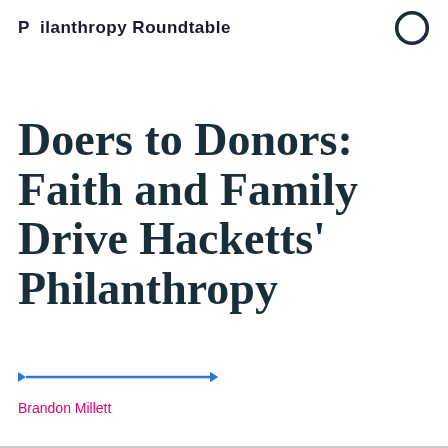Philanthropy Roundtable
Doers to Donors: Faith and Family Drive Hacketts' Philanthropy
—♦—♦—
Brandon Millett